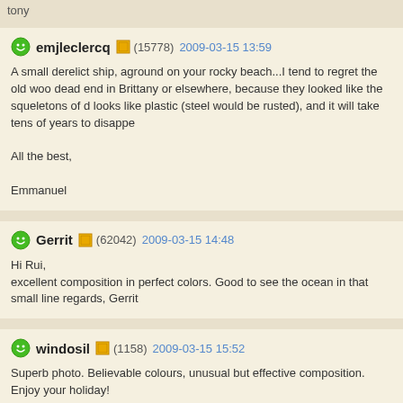tony
emjleclercq (15778) 2009-03-15 13:59
A small derelict ship, aground on your rocky beach...I tend to regret the old woo dead end in Brittany or elsewhere, because they looked like the squeletons of d looks like plastic (steel would be rusted), and it will take tens of years to disappe

All the best,

Emmanuel
Gerrit (62042) 2009-03-15 14:48
Hi Rui,
excellent composition in perfect colors. Good to see the ocean in that small line regards, Gerrit
windosil (1158) 2009-03-15 15:52
Superb photo. Believable colours, unusual but effective composition.
Enjoy your holiday!
Winifred